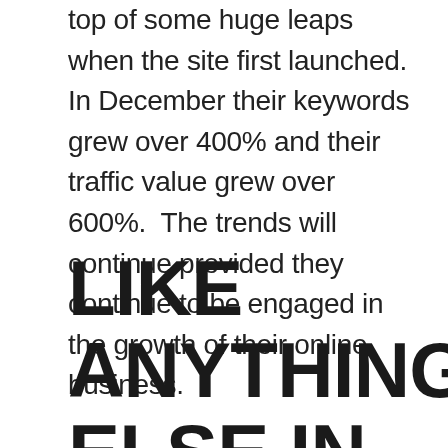top of some huge leaps when the site first launched.  In December their keywords grew over 400% and their traffic value grew over 600%.  The trends will continue provided they continue to be engaged in the growth of their online business.
LIKE ANYTHING ELSE IN LIFE,